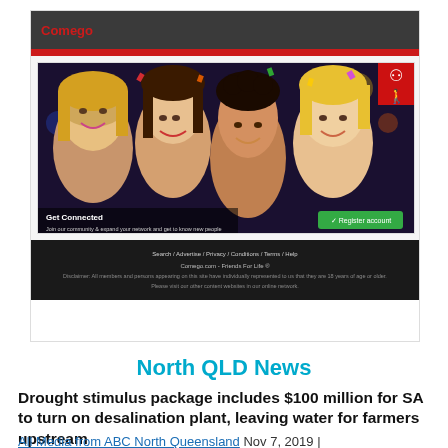[Figure (screenshot): Screenshot of Comego social networking website showing header with red logo, party photo of smiling people, login form with username/password fields and Login button, and dark footer with disclaimer text.]
North QLD News
Drought stimulus package includes $100 million for SA to turn on desalination plant, leaving water for farmers upstream
All Media from ABC North Queensland Nov 7, 2019 |